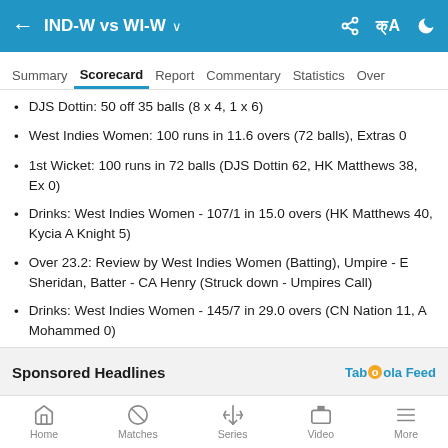IND-W vs WI-W
Summary | Scorecard | Report | Commentary | Statistics | Over
DJS Dottin: 50 off 35 balls (8 x 4, 1 x 6)
West Indies Women: 100 runs in 11.6 overs (72 balls), Extras 0
1st Wicket: 100 runs in 72 balls (DJS Dottin 62, HK Matthews 38, Ex 0)
Drinks: West Indies Women - 107/1 in 15.0 overs (HK Matthews 40, Kycia A Knight 5)
Over 23.2: Review by West Indies Women (Batting), Umpire - E Sheridan, Batter - CA Henry (Struck down - Umpires Call)
Drinks: West Indies Women - 145/7 in 29.0 overs (CN Nation 11, A Mohammed 0)
West Indies Women: 150 runs in 31.4 overs (190 balls), Extras 1
Sponsored Headlines
Home | Matches | Series | Video | More